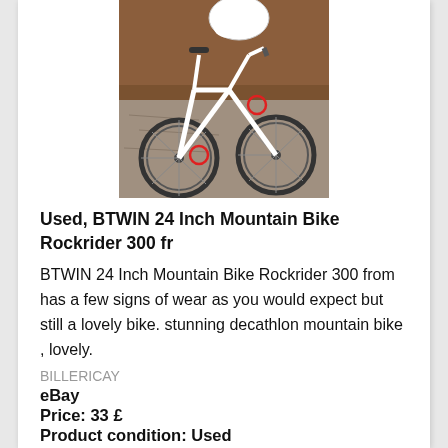[Figure (photo): Photo of a white BTWIN 24 inch mountain bike Rockrider 300, partially visible, showing the front wheel, frame and handlebars. There are red circular markings on the image. The bike is positioned against a driveway/pavement background.]
Used, BTWIN 24 Inch Mountain Bike Rockrider 300 fr
BTWIN 24 Inch Mountain Bike Rockrider 300 from has a few signs of wear as you would expect but still a lovely bike. stunning decathlon mountain bike , lovely.
BILLERICAY
eBay
Price: 33 £
Product condition: Used
See details